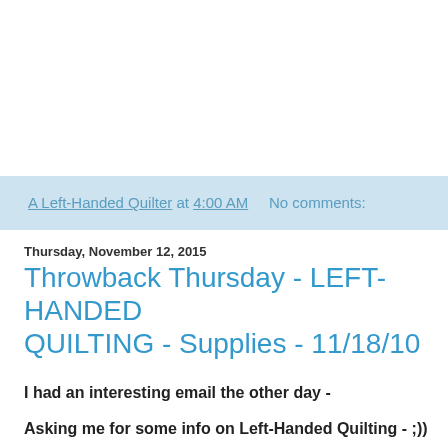A Left-Handed Quilter at 4:00 AM    No comments:
Thursday, November 12, 2015
Throwback Thursday - LEFT-HANDED QUILTING - Supplies - 11/18/10
I had an interesting email the other day -
Asking me for some info on Left-Handed Quilting - ;))
I directed her/him to the pages/tabs at the top of my blog -
And got to thinking that I might use Thursdays -